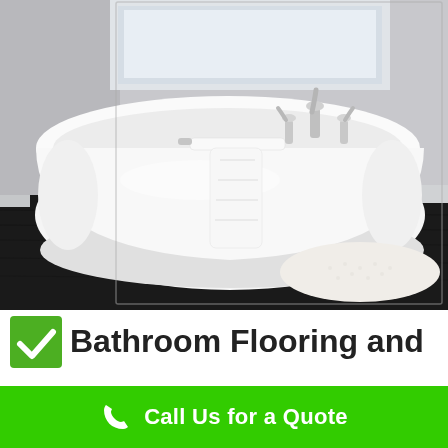[Figure (photo): A modern freestanding white oval bathtub with a white towel draped over the side, chrome faucets, a white fluffy bath mat on dark hardwood floor, light gray walls and a window in the background.]
Bathroom Flooring and
Call Us for a Quote